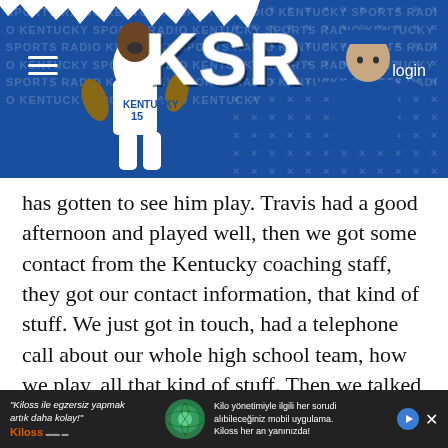[Figure (screenshot): KSR (Kentucky Sports Radio) website header banner with blue background, KSR logo in center, basketball player wearing Kentucky #15 jersey on left, coach figure on right, hamburger menu on left, login button on top right]
has gotten to see him play. Travis had a good afternoon and played well, then we got some contact from the Kentucky coaching staff, they got our contact information, that kind of stuff. We just got in touch, had a telephone call about our whole high school team, how we play, all that kind of stuff. Then we talked about Travis — I think the staff that was there thought Travis played pretty well. We got some interest that way, so we're gonna go up, talk to them, take a look at campus. This
[Figure (screenshot): Advertisement banner for Kiloss fitness app. Left side: 'Kiloss ile egzersiz yapmak artık daha kolay!' with Kiloss logo. Center: green/teal globe-like app icon. Right side: 'Kilo yönetimiyle ilgili her sorudu alıbileceğiniz mobil uygulama. Kiloss her an yanınızda!' with play and close buttons.]